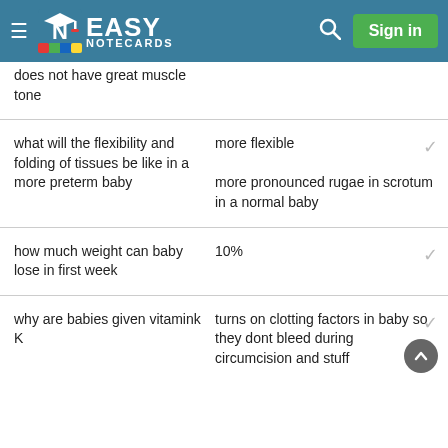EASY NOTECARDS
does not have great muscle tone
what will the flexibility and folding of tissues be like in a more preterm baby
more flexible
more pronounced rugae in scrotum in a normal baby
how much weight can baby lose in first week
10%
why are babies given vitamink K
turns on clotting factors in baby so they dont bleed during circumcision and stuff